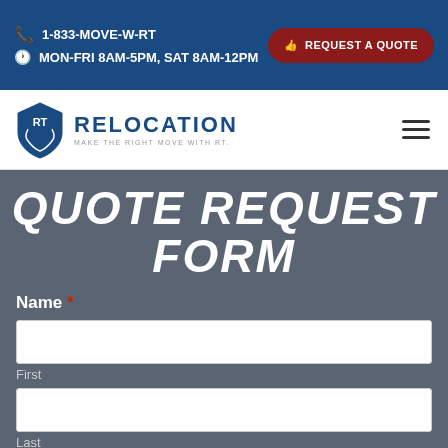1-833-MOVE-W-RT | MON-FRI 8AM-5PM, SAT 8AM-12PM | REQUEST A QUOTE
[Figure (logo): RT Relocation logo with shield icon and tagline MAKE THE RIGHT MOVE WITH RT.]
QUOTE REQUEST FORM
Name *
First
Last